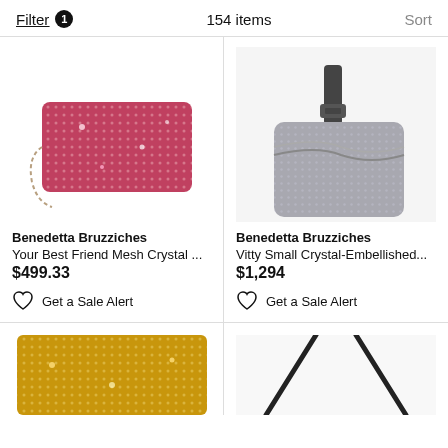Filter 1   154 items   Sort
[Figure (photo): Red crystal mesh clutch bag by Benedetta Bruzziches]
Benedetta Bruzziches
Your Best Friend Mesh Crystal ...
$499.33
Get a Sale Alert
[Figure (photo): Grey crystal-embellished small shoulder bag by Benedetta Bruzziches]
Benedetta Bruzziches
Vitty Small Crystal-Embellished...
$1,294
Get a Sale Alert
[Figure (photo): Gold crystal mesh bag (partial, bottom of page)]
[Figure (photo): Black strap bag (partial, bottom of page)]